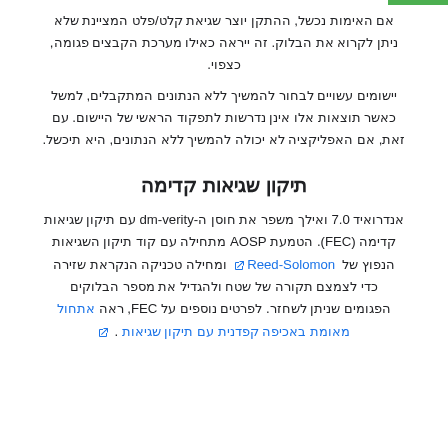אם האימות נכשל, ההתקן יוצר שגיאת קלט/פלט המציינת שלא ניתן לקרוא את הבלוק. זה ייראה כאילו מערכת הקבצים פגומה, כצפוי.
יישומים עשויים לבחור להמשיך ללא הנתונים המתקבלים, למשל כאשר תוצאות אלו אינן נדרשות לתפקוד הראשי של היישום. עם זאת, אם האפליקציה לא יכולה להמשיך ללא הנתונים, היא תיכשל.
תיקון שגיאות קדימה
אנדרואיד 7.0 ואילך משפר את חוסן ה-dm-verity עם תיקון שגיאות קדימה (FEC). הטמעת AOSP מתחילה עם קוד תיקון השגיאות הנפוץ של Reed-Solomon ומחילה טכניקה הנקראת שזירה כדי לצמצם תקורה של שטח ולהגדיל את מספר הבלוקים הפגומים שניתן לשחזר. לפרטים נוספים על FEC, ראה אתחול מאומת באכיפה קפדנית עם תיקון שגיאות .